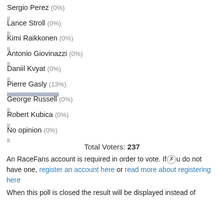Sergio Perez (0%)
Lance Stroll (0%)
Kimi Raikkonen (0%)
Antonio Giovinazzi (0%)
Daniil Kvyat (0%)
Pierre Gasly (13%)
George Russell (0%)
Robert Kubica (0%)
No opinion (0%)
Total Voters: 237
An RaceFans account is required in order to vote. If you do not have one, register an account here or read more about registering here
When this poll is closed the result will be displayed instead of